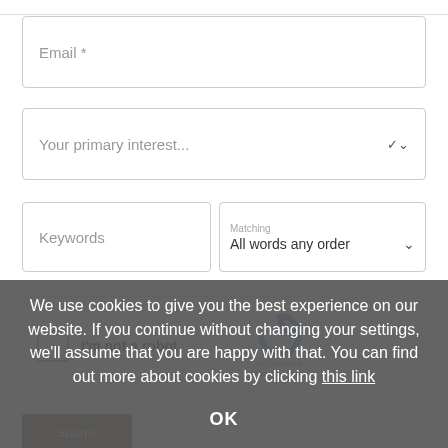[Figure (screenshot): Web form with Email field, Your primary interest dropdown, Keywords input with Matching dropdown, and reCAPTCHA checkbox widget]
We use cookies to give you the best experience on our website. If you continue without changing your settings, we'll assume that you are happy with that. You can find out more about cookies by clicking this link
OK